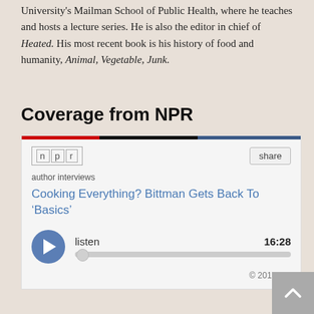University's Mailman School of Public Health, where he teaches and hosts a lecture series. He is also the editor in chief of Heated. His most recent book is his history of food and humanity, Animal, Vegetable, Junk.
Coverage from NPR
[Figure (screenshot): NPR embedded audio widget showing an author interview titled 'Cooking Everything? Bittman Gets Back To ‘Basics’' with a play button, listen label, duration 16:28, and copyright 2012 npr.]